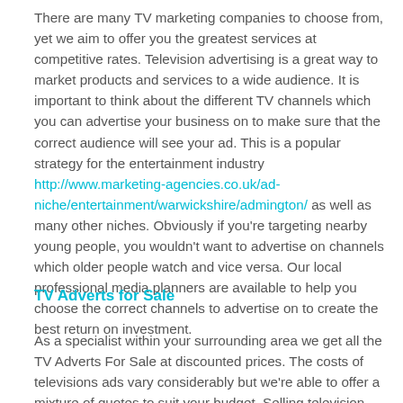There are many TV marketing companies to choose from, yet we aim to offer you the greatest services at competitive rates. Television advertising is a great way to market products and services to a wide audience. It is important to think about the different TV channels which you can advertise your business on to make sure that the correct audience will see your ad. This is a popular strategy for the entertainment industry http://www.marketing-agencies.co.uk/ad-niche/entertainment/warwickshire/admington/ as well as many other niches. Obviously if you're targeting nearby young people, you wouldn't want to advertise on channels which older people watch and vice versa. Our local professional media planners are available to help you choose the correct channels to advertise on to create the best return on investment.
TV Adverts for Sale
As a specialist within your surrounding area we get all the TV Adverts For Sale at discounted prices. The costs of televisions ads vary considerably but we're able to offer a mixture of quotes to suit your budget. Selling television advertisements is our bread and butter so speak to the team today and we'll get you organised.